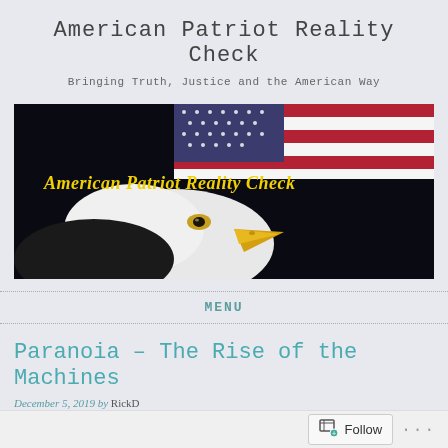American Patriot Reality Check
Bringing Truth, Justice and the American Way
[Figure (photo): Banner image showing a bald eagle close-up against an American flag background with yellow italic text 'American Patriot Reality Check' overlaid]
MENU
Paranoia – The Rise of the Machines
December 5, 2019 by RickD
Follow ...